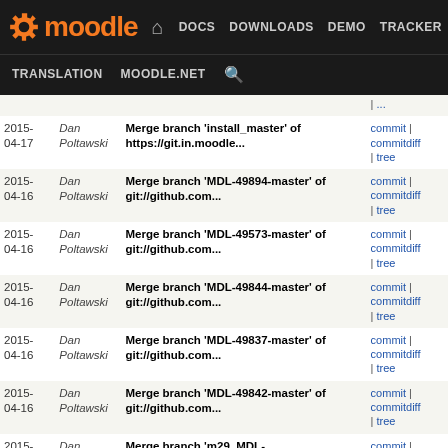moodle | DOCS DOWNLOADS DEMO TRACKER DEV | TRANSLATION MOODLE.NET
| Date | Author | Message | Links |
| --- | --- | --- | --- |
| 2015-04-17 | Dan Poltawski | Merge branch 'install_master' of https://git.in.moodle... | commit | commitdiff | tree |
| 2015-04-16 | Dan Poltawski | Merge branch 'MDL-49894-master' of git://github.com... | commit | commitdiff | tree |
| 2015-04-16 | Dan Poltawski | Merge branch 'MDL-49573-master' of git://github.com... | commit | commitdiff | tree |
| 2015-04-16 | Dan Poltawski | Merge branch 'MDL-49844-master' of git://github.com... | commit | commitdiff | tree |
| 2015-04-16 | Dan Poltawski | Merge branch 'MDL-49837-master' of git://github.com... | commit | commitdiff | tree |
| 2015-04-16 | Dan Poltawski | Merge branch 'MDL-49842-master' of git://github.com... | commit | commitdiff | tree |
| 2015-04-16 | Dan Poltawski | Merge branch 'm29_MDL-47004_LDAP_Better_Default_ObjectClass... | commit | commitdiff | tree |
| 2015-04-16 | Dan Poltawski | Merge branch 'MDL-49741-master' of git://github.com... | commit | commitdiff | tree |
| 2015-04-15 | Dan Poltawski | Merge branch 'MDL-49763-master' of git://github.com... | commit | commitdiff | tree |
| 2015-04-15 | Dan Poltawski | Merge branch 'MDL-49803_master' of git://github.com... | commit | commitdiff |